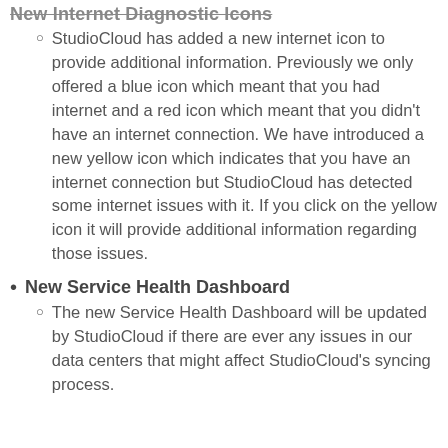New Internet Diagnostic Icons
StudioCloud has added a new internet icon to provide additional information. Previously we only offered a blue icon which meant that you had internet and a red icon which meant that you didn't have an internet connection. We have introduced a new yellow icon which indicates that you have an internet connection but StudioCloud has detected some internet issues with it. If you click on the yellow icon it will provide additional information regarding those issues.
New Service Health Dashboard
The new Service Health Dashboard will be updated by StudioCloud if there are ever any issues in our data centers that might affect StudioCloud's syncing process.